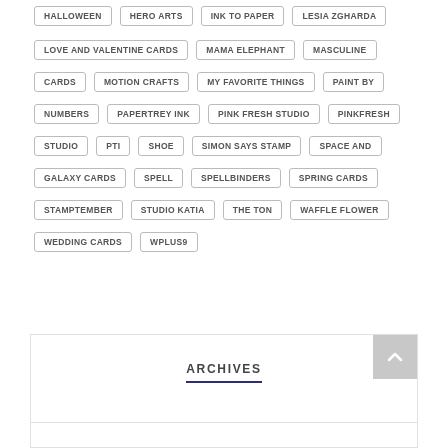HALLOWEEN
HERO ARTS
INK TO PAPER
LESIA ZGHARDA
LOVE AND VALENTINE CARDS
MAMA ELEPHANT
MASCULINE
CARDS
MOTION CRAFTS
MY FAVORITE THINGS
PAINT BY
NUMBERS
PAPERTREY INK
PINK FRESH STUDIO
PINKFRESH
STUDIO
PTI
SHOE
SIMON SAYS STAMP
SPACE AND
GALAXY CARDS
SPELL
SPELLBINDERS
SPRING CARDS
STAMPTEMBER
STUDIO KATIA
THE TON
WAFFLE FLOWER
WEDDING CARDS
WPLUS9
ARCHIVES